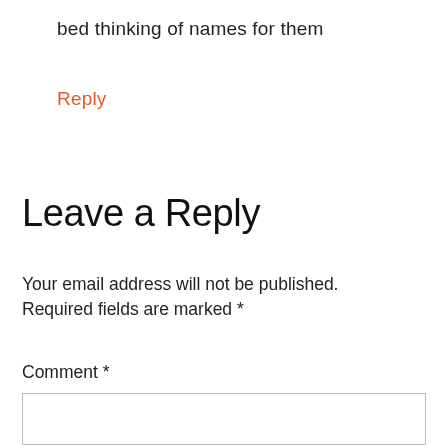bed thinking of names for them
Reply
Leave a Reply
Your email address will not be published. Required fields are marked *
Comment *